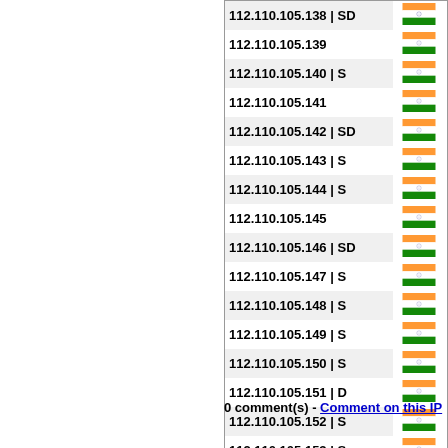| IP Address | Flag |
| --- | --- |
| 112.110.105.138 | SD | IN |
| 112.110.105.139 | IN |
| 112.110.105.140 | S | IN |
| 112.110.105.141 | IN |
| 112.110.105.142 | SD | IN |
| 112.110.105.143 | S | IN |
| 112.110.105.144 | S | IN |
| 112.110.105.145 | IN |
| 112.110.105.146 | SD | IN |
| 112.110.105.147 | S | IN |
| 112.110.105.148 | S | IN |
| 112.110.105.149 | S | IN |
| 112.110.105.150 | S | IN |
| 112.110.105.151 | D | IN |
| 112.110.105.152 | S | IN |
| 112.110.105.153 | S | IN |
| 112.110.105.154 | S | IN |
| 112.110.105.155 | IN |
| 112.110.105.156 | IN |
| 112.110.105.157 | S | IN |
| 112.110.105.158 | S | IN |
0 comment(s) - Comment on this IP